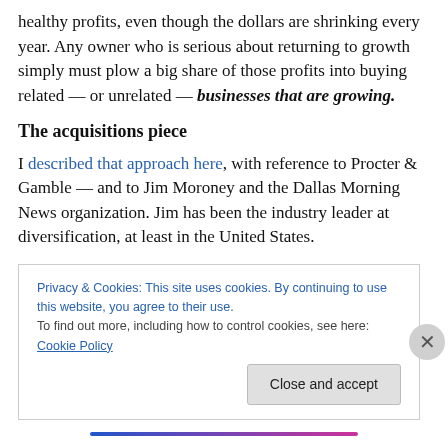healthy profits, even though the dollars are shrinking every year. Any owner who is serious about returning to growth simply must plow a big share of those profits into buying related — or unrelated — businesses that are growing.
The acquisitions piece
I described that approach here, with reference to Procter & Gamble — and to Jim Moroney and the Dallas Morning News organization. Jim has been the industry leader at diversification, at least in the United States.
Privacy & Cookies: This site uses cookies. By continuing to use this website, you agree to their use.
To find out more, including how to control cookies, see here: Cookie Policy